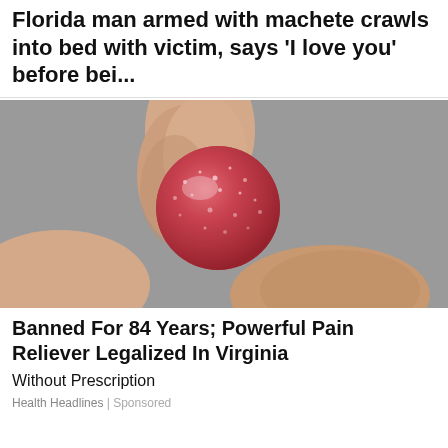Florida man armed with machete crawls into bed with victim, says 'I love you' before bei...
[Figure (photo): Close-up photo of a hand holding a red sugary gummy candy ball between two fingers against a gray background]
Banned For 84 Years; Powerful Pain Reliever Legalized In Virginia
Without Prescription
Health Headlines | Sponsored